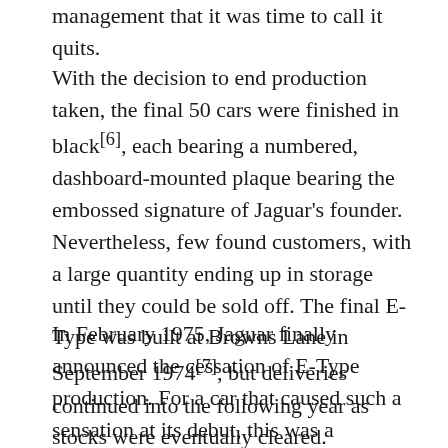management that it was time to call it quits.
With the decision to end production taken, the final 50 cars were finished in black[6], each bearing a numbered, dashboard-mounted plaque bearing the embossed signature of Jaguar's founder. Nevertheless, few found customers, with a large quantity ending up in storage until they could be sold off. The final E-Type was built at Browns Lane in September 1974[7], but deliveries continued into the following year as stocks were eventually cleared.
In February 1975, Jaguar finally announced the cessation of E-Type production. For a car that caused such a sensation at its debut, this was a poignant moment, especially given the